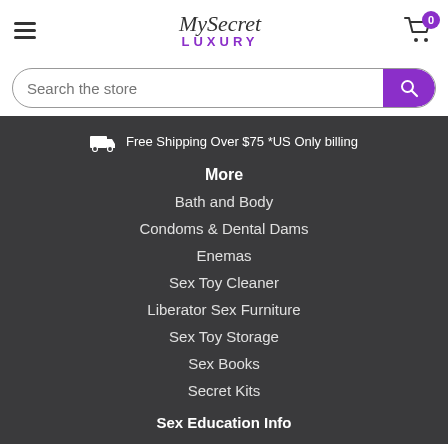MySecret LUXURY
Search the store
Free Shipping Over $75 *US Only billing
More
Bath and Body
Condoms & Dental Dams
Enemas
Sex Toy Cleaner
Liberator Sex Furniture
Sex Toy Storage
Sex Books
Secret Kits
Sex Education Info